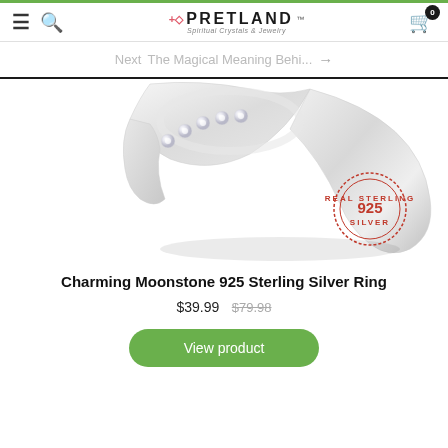Pretland — Spiritual Crystals & Jewelry
Next   The Magical Meaning Behi... →
[Figure (photo): Close-up photo of a Charming Moonstone 925 Sterling Silver Ring with small gemstones set along the band, shown at an angle with a Real Sterling Silver 925 stamp seal on the lower right.]
Charming Moonstone 925 Sterling Silver Ring
$39.99  $79.98
View product